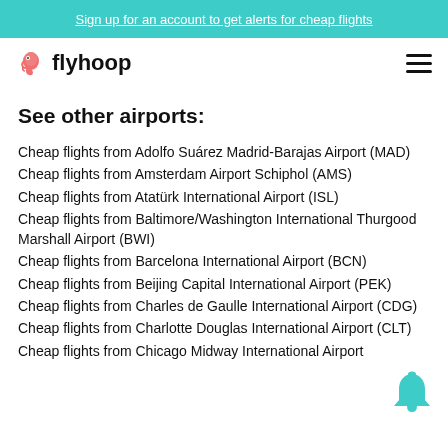Sign up for an account to get alerts for cheap flights
[Figure (logo): Flyhoop logo with flamingo icon and text 'flyhoop']
See other airports:
Cheap flights from Adolfo Suárez Madrid-Barajas Airport (MAD)
Cheap flights from Amsterdam Airport Schiphol (AMS)
Cheap flights from Atatürk International Airport (ISL)
Cheap flights from Baltimore/Washington International Thurgood Marshall Airport (BWI)
Cheap flights from Barcelona International Airport (BCN)
Cheap flights from Beijing Capital International Airport (PEK)
Cheap flights from Charles de Gaulle International Airport (CDG)
Cheap flights from Charlotte Douglas International Airport (CLT)
Cheap flights from Chicago Midway International Airport